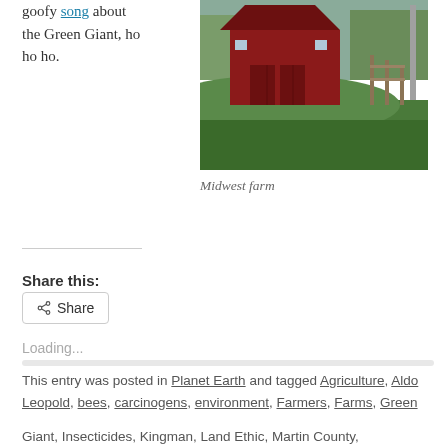goofy song about the Green Giant, ho ho ho.
[Figure (photo): Photo of a Midwest farm with a red barn and green grass fields]
Midwest farm
Share this:
Share button
Loading...
This entry was posted in Planet Earth and tagged Agriculture, Aldo Leopold, bees, carcinogens, environment, Farmers, Farms, Green Giant, Insecticides, Kingman, Land Ethic, Martin County,